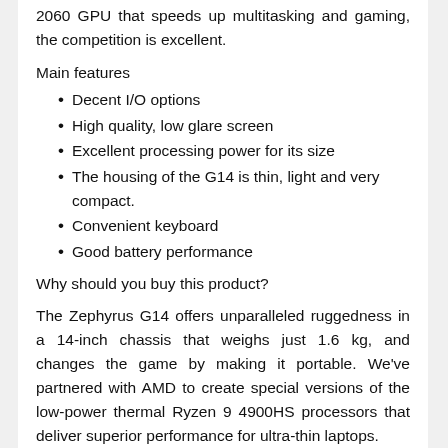2060 GPU that speeds up multitasking and gaming, the competition is excellent.
Main features
Decent I/O options
High quality, low glare screen
Excellent processing power for its size
The housing of the G14 is thin, light and very compact.
Convenient keyboard
Good battery performance
Why should you buy this product?
The Zephyrus G14 offers unparalleled ruggedness in a 14-inch chassis that weighs just 1.6 kg, and changes the game by making it portable. We've partnered with AMD to create special versions of the low-power thermal Ryzen 9 4900HS processors that deliver superior performance for ultra-thin laptops.
Up to 8 cores and 16 filaments are stacked on one chip